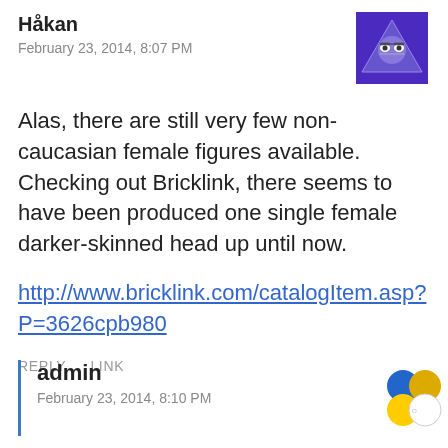Håkan
February 23, 2014, 8:07 PM
[Figure (illustration): Purple triangular avatar with cartoon face wearing glasses]
Alas, there are still very few non-caucasian female figures available. Checking out Bricklink, there seems to have been produced one single female darker-skinned head up until now.
http://www.bricklink.com/catalogItem.asp?P=3626cpb980
REPLY    LINK
admin
February 23, 2014, 8:10 PM
[Figure (illustration): Colorful circles avatar with blue, yellow, and orange circles arranged in a cluster]